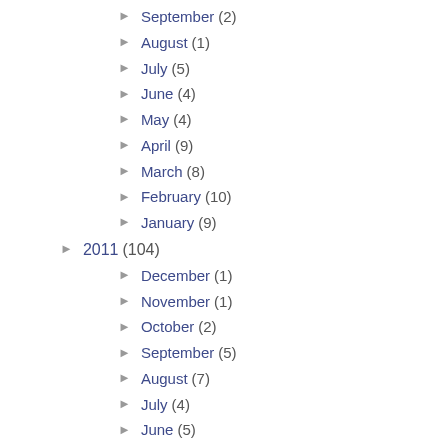► September (2)
► August (1)
► July (5)
► June (4)
► May (4)
► April (9)
► March (8)
► February (10)
► January (9)
► 2011 (104)
► December (1)
► November (1)
► October (2)
► September (5)
► August (7)
► July (4)
► June (5)
► May (10)
► April (15)